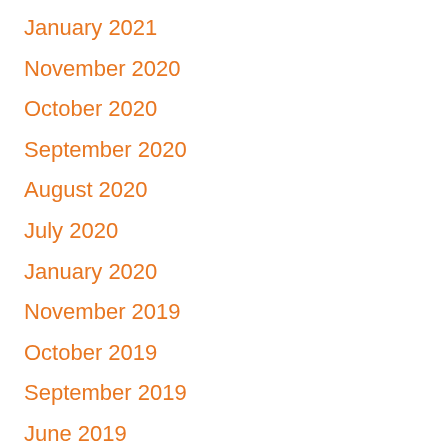January 2021
November 2020
October 2020
September 2020
August 2020
July 2020
January 2020
November 2019
October 2019
September 2019
June 2019
May 2019
December 2018
November 2018